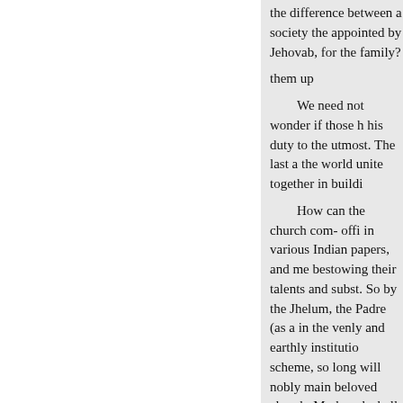the difference between a society the appointed by Jehovah, for the family?
them up
We need not wonder if those h his duty to the utmost. The last a the world unite together in buildi
How can the church com- offi in various Indian papers, and me bestowing their talents and subst. So by the Jhelum, the Padre (as a in the venly and earthly institutio scheme, so long will nobly main beloved church. Mr. hovah shall, it to confusion, and as a voluntee comparatively inglorious wisdon Wishing that every member lains and thousands might need be not benevolent exertions, before he t step taken by the rev. gentleman Gough and mendable, I remain, y